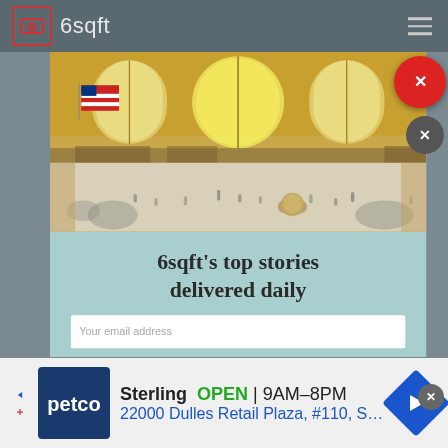6sqft
[Figure (photo): Grand Central Terminal interior with large arched windows, American flag, and crowds of people on the main concourse floor]
6sqft's top stories delivered daily
Your email address
Sterling OPEN | 9AM-8PM 22000 Dulles Retail Plaza, #110, Sterling